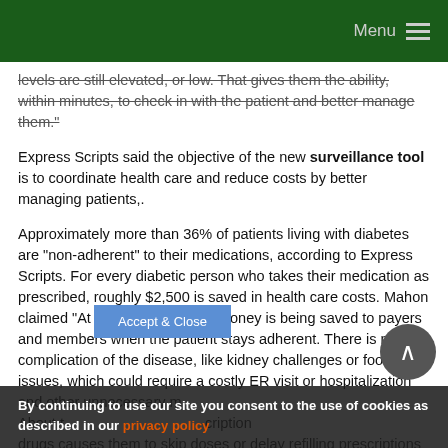Menu
levels are still elevated, or low. That gives them the ability, within minutes, to check in with the patient and better manage them."
Express Scripts said the objective of the new surveillance tool is to coordinate health care and reduce costs by better managing patients,.
Approximately more than 36% of patients living with diabetes are "non-adherent" to their medications, according to Express Scripts. For every diabetic person who takes their medication as prescribed, roughly $2,500 is saved in health care costs. Mahon claimed "At the end of the day, money is being saved to payers and members when the patient stays adherent. There is no complication of the disease, like kidney challenges or foot issues, which could require a costly ER visit or hospitalization and other unnecessary medical expenses.
About the rising costs of prescription drugs causes them to skip doses or delay refilling prescriptions
By continuing to use our site you consent to the use of cookies as described in our privacy policy